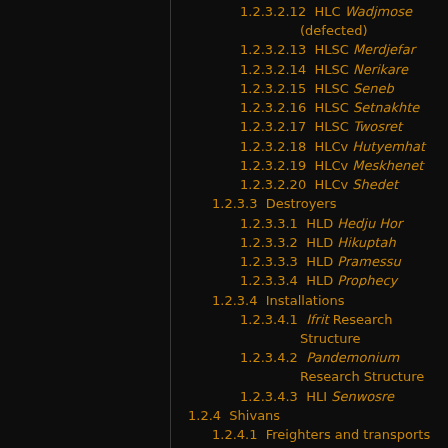1.2.3.2.12  HLC Wadjmose (defected)
1.2.3.2.13  HLSC Merdjefar
1.2.3.2.14  HLSC Nerikare
1.2.3.2.15  HLSC Seneb
1.2.3.2.16  HLSC Setnakhte
1.2.3.2.17  HLSC Twosret
1.2.3.2.18  HLCv Hutyemhat
1.2.3.2.19  HLCv Meskhenet
1.2.3.2.20  HLCv Shedet
1.2.3.3  Destroyers
1.2.3.3.1  HLD Hedju Hor
1.2.3.3.2  HLD Hikuptah
1.2.3.3.3  HLD Pramessu
1.2.3.3.4  HLD Prophecy
1.2.3.4  Installations
1.2.3.4.1  Ifrit Research Structure
1.2.3.4.2  Pandemonium Research Structure
1.2.3.4.3  HLI Senwosre
1.2.4  Shivans
1.2.4.1  Freighters and transports
1.2.4.2  Cruisers and corvettes